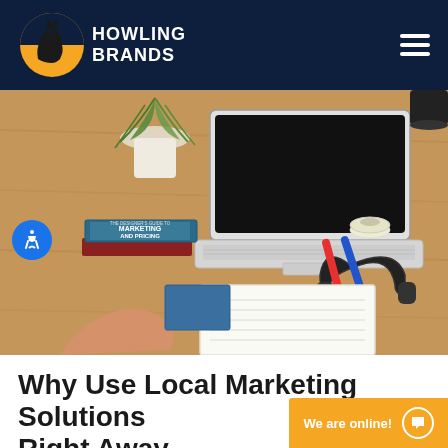Howling Brands
[Figure (photo): Overhead view of a wooden desk with a laptop, potted plant, marketing and pricing books, headphones, markers, tape, and a person's hands writing in a notebook]
Why Use Local Marketing Solutions Right Away